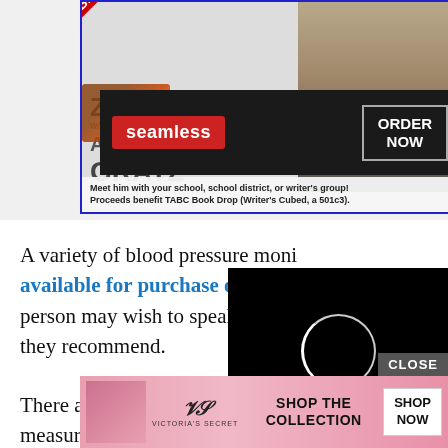[Figure (screenshot): Book advertisement for 'ZOOM' by bestselling author Alan Gratz with pizza image]
[Figure (screenshot): Seamless food delivery advertisement with red Seamless logo and ORDER NOW button]
A variety of blood pressure monitors are available for purchase online and in person may wish to speak to a doctor about what they recommend.
[Figure (screenshot): Video loading overlay with black background and white circular loading spinner]
There are apps and wrist devices that claim to measure the blood pressure, but these results are frequently inaccurate and are
[Figure (screenshot): Victoria's Secret advertisement with pink background, VS logo, SHOP THE COLLECTION text, and SHOP NOW button]